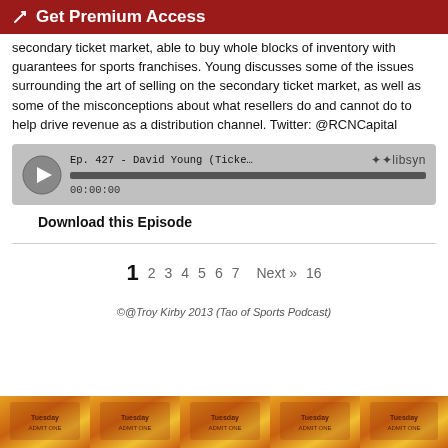Get Premium Access
secondary ticket market, able to buy whole blocks of inventory with guarantees for sports franchises. Young discusses some of the issues surrounding the art of selling on the secondary ticket market, as well as some of the misconceptions about what resellers do and cannot do to help drive revenue as a distribution channel. Twitter: @RCNCapital
[Figure (screenshot): Audio player widget showing episode 'Ep. 427 - David Young (Ticket Financing Manager, RCN Ca...' with a progress bar at 00:00:00 and libsyn branding]
Download this Episode
1  2  3  4  5  6  7  Next »  16
©@Troy Kirby 2013 (Tao of Sports Podcast)
[Figure (illustration): Row of burning ticket images at the bottom of the page]